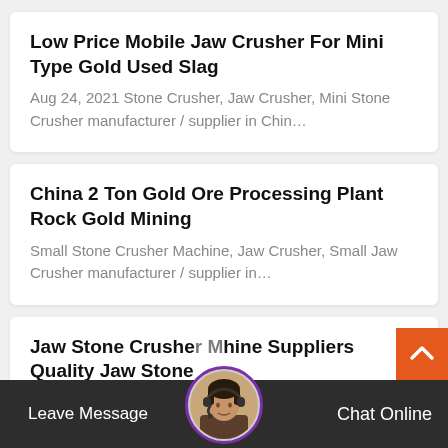Low Price Mobile Jaw Crusher For Mini Type Gold Used Slag
Aug 24, 2021 Stone Crusher, Jaw Crusher, Mini Stone Crusher manufacturer / supplier in Chin…
China 2 Ton Gold Ore Processing Plant Rock Gold Mining
Small Stone Crusher Machine, Jaw Crusher, Small Jaw Crusher manufacturer / supplier in…
Jaw Stone Crusher Machine Suppliers Quality Jaw Stone
widely used Jaw crushing equipment, stone
[Figure (photo): Customer service avatar with headset, circular cropped photo overlaying bottom bar]
Leave Message
Chat Online